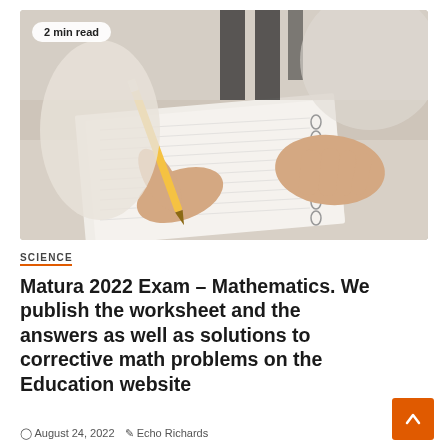[Figure (photo): Person writing in a notebook with a pencil, hands visible on a desk, with a label badge reading '2 min read']
SCIENCE
Matura 2022 Exam – Mathematics. We publish the worksheet and the answers as well as solutions to corrective math problems on the Education website
August 24, 2022  Echo Richards